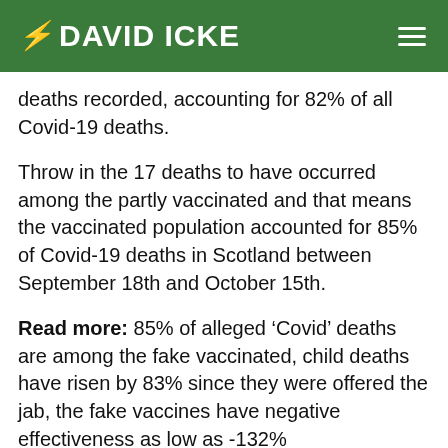DAVID ICKE
deaths recorded, accounting for 82% of all Covid-19 deaths.
Throw in the 17 deaths to have occurred among the partly vaccinated and that means the vaccinated population accounted for 85% of Covid-19 deaths in Scotland between September 18th and October 15th.
Read more: 85% of alleged ‘Covid’ deaths are among the fake vaccinated, child deaths have risen by 83% since they were offered the jab, the fake vaccines have negative effectiveness as low as -132%